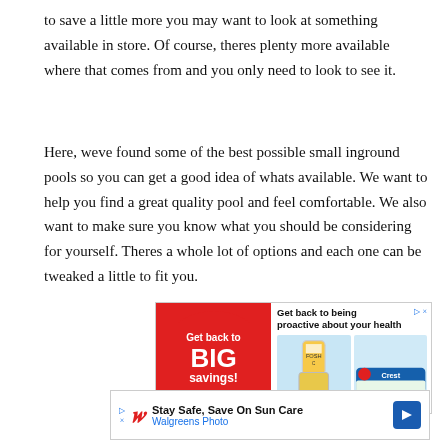to save a little more you may want to look at something available in store. Of course, theres plenty more available where that comes from and you only need to look to see it.
Here, weve found some of the best possible small inground pools so you can get a good idea of whats available. We want to help you find a great quality pool and feel comfortable. We also want to make sure you know what you should be considering for yourself. Theres a whole lot of options and each one can be tweaked a little to fit you.
[Figure (other): Advertisement banner: Walgreens 'Get back to BIG savings!' ad with health product images (vitamin bottle and Crest toothpaste). Header reads 'Get back to being proactive about your health'.]
[Figure (other): Advertisement banner: Walgreens Photo 'Stay Safe, Save On Sun Care' ad with Walgreens logo and blue directional icon.]